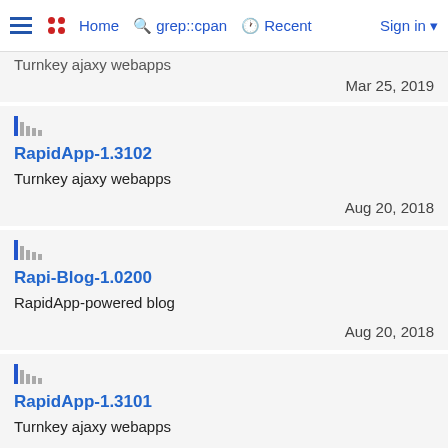Home  grep::cpan  Recent  Sign in
Turnkey ajaxy webapps
Mar 25, 2019
RapidApp-1.3102
Turnkey ajaxy webapps
Aug 20, 2018
Rapi-Blog-1.0200
RapidApp-powered blog
Aug 20, 2018
RapidApp-1.3101
Turnkey ajaxy webapps
Aug 06, 2018